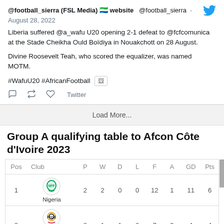@football_sierra (FSL Media) 🇸🇱 website   @football_sierra · August 28, 2022
Liberia suffered @a_wafu U20 opening 2-1 defeat to @fcfcomunica at the Stade Cheikha Ould Boïdiya in Nouakchott on 28 August.
Divine Roosevelt Teah, who scored the equalizer, was named MOTM.
#WafuU20 #AfricanFootball
Load More...
Group A qualifying table to Afcon Côte d'Ivoire 2023
| Pos | Club | P | W | D | L | F | A | GD | Pts |
| --- | --- | --- | --- | --- | --- | --- | --- | --- | --- |
| 1 | Nigeria | 2 | 2 | 0 | 0 | 12 | 1 | 11 | 6 |
| 2 | Guinea-Bissau | 2 | 1 | 1 | 0 | 7 | 3 | 4 | 4 |
| 3 |  |  |  |  |  |  |  |  |  |